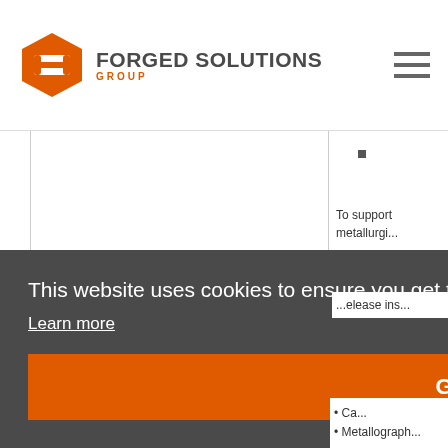[Figure (logo): Forged Solutions Group logo with orange hexagon/shield icon and company name]
This website uses cookies to ensure you get the best experience on our website.
Learn more
Got it!
Go
If you are int... your CV a...
To support metallurgi...
...elease ins...
• Ca... • Metallograph...